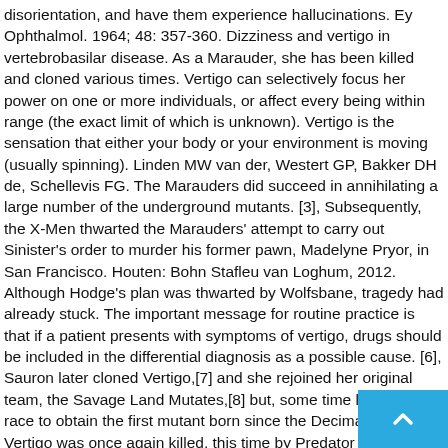disorientation, and have them experience hallucinations. Ey Ophthalmol. 1964; 48: 357-360. Dizziness and vertigo in vertebrobasilar disease. As a Marauder, she has been killed and cloned various times. Vertigo can selectively focus her power on one or more individuals, or affect every being within range (the exact limit of which is unknown). Vertigo is the sensation that either your body or your environment is moving (usually spinning). Linden MW van der, Westert GP, Bakker DH de, Schellevis FG. The Marauders did succeed in annihilating a large number of the underground mutants. [3], Subsequently, the X-Men thwarted the Marauders' attempt to carry out Sinister's order to murder his former pawn, Madelyne Pryor, in San Francisco. Houten: Bohn Stafleu van Loghum, 2012. Although Hodge's plan was thwarted by Wolfsbane, tragedy had already stuck. The important message for routine practice is that if a patient presents with symptoms of vertigo, drugs should be included in the differential diagnosis as a possible cause. [6], Sauron later cloned Vertigo,[7] and she rejoined her original team, the Savage Land Mutates,[8] but, some time later, in a race to obtain the first mutant born since the Decimation, Vertigo was once again killed, this time by Predator X. Vertigo is a member of Mister Sinister's Marauders as well as living in the Savage Land. Her superhuman power appears to be psionic in nature, and presumably functions by acting upon the inner ears of her victims that control their sense of bal